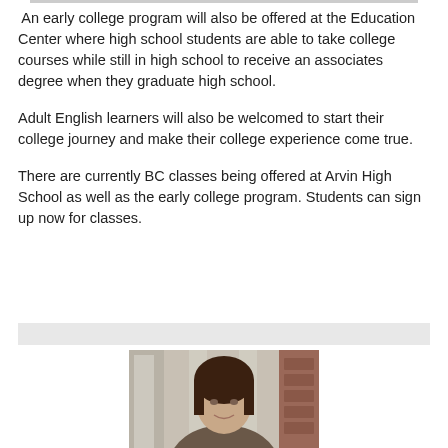An early college program will also be offered at the Education Center where high school students are able to take college courses while still in high school to receive an associates degree when they graduate high school.
Adult English learners will also be welcomed to start their college journey and make their college experience come true.
There are currently BC classes being offered at Arvin High School as well as the early college program. Students can sign up now for classes.
[Figure (photo): Portrait photo of a woman with dark hair in front of a building with columns and brick architecture]